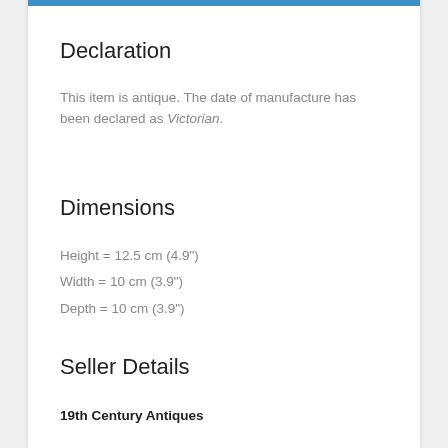Declaration
This item is antique. The date of manufacture has been declared as Victorian.
Dimensions
Height = 12.5 cm (4.9")
Width = 10 cm (3.9")
Depth = 10 cm (3.9")
Seller Details
19th Century Antiques